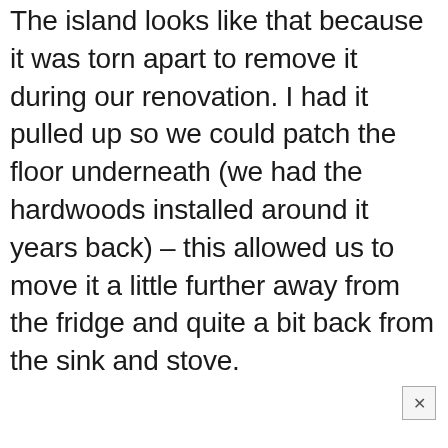The island looks like that because it was torn apart to remove it during our renovation. I had it pulled up so we could patch the floor underneath (we had the hardwoods installed around it years back) – this allowed us to move it a little further away from the fridge and quite a bit back from the sink and stove.